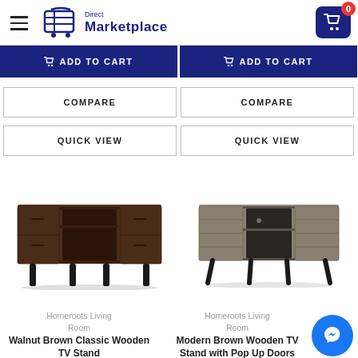[Figure (screenshot): Direct Marketplace e-commerce website header with hamburger menu, logo, and shopping cart button showing 0 items]
ADD TO CART
ADD TO CART
COMPARE
COMPARE
QUICK VIEW
QUICK VIEW
[Figure (photo): Walnut Brown Classic Wooden TV Stand with black metal legs, two open shelves and four drawers]
[Figure (photo): Modern Brown Wooden TV Stand with Pop Up Doors and black metal legs, open center shelf]
Homeroots Living Room
Walnut Brown Classic Wooden TV Stand
Homeroots Living Room
Modern Brown Wooden TV Stand with Pop Up Doors